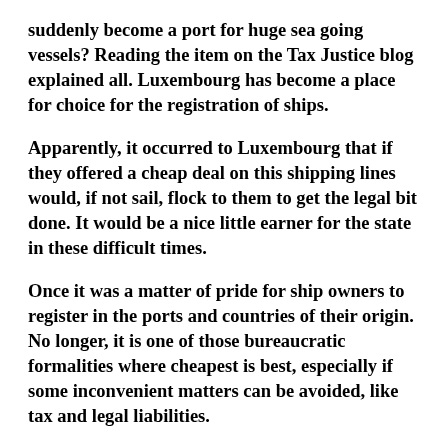suddenly become a port for huge sea going vessels? Reading the item on the Tax Justice blog explained all.  Luxembourg has become a place for choice for the registration of ships.
Apparently, it occurred to Luxembourg that if they offered a cheap deal on this shipping lines would, if not sail, flock to them to get the legal bit done.  It would be a nice little earner for the state in these difficult times.
Once it was a matter of pride for ship owners to register in the ports and countries of their origin.  No longer, it is one of those bureaucratic formalities where cheapest is best, especially if some inconvenient matters can be avoided, like tax and legal liabilities.
It is a pity that ploys of this kind cannot be dealt with